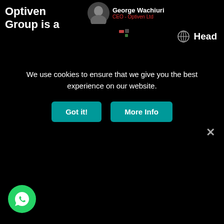Optiven Group is a
[Figure (photo): Person badge showing George Wachiuri, CEO - Optiven Ltd, with a circular photo portrait]
Head
We use cookies to ensure that we give you the best experience on our website.
[Figure (other): Got it! and More Info teal buttons for cookie consent]
[Figure (other): Close X button on dark overlay]
[Figure (other): WhatsApp floating button at bottom left]